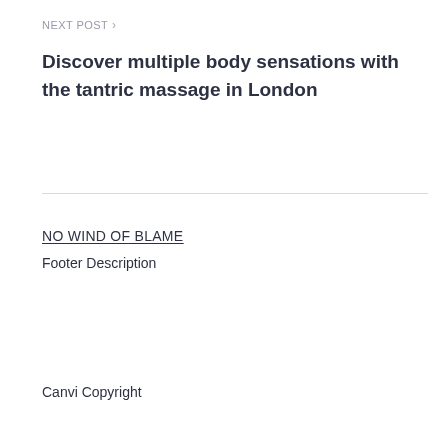NEXT POST >
Discover multiple body sensations with the tantric massage in London
NO WIND OF BLAME
Footer Description
Canvi Copyright